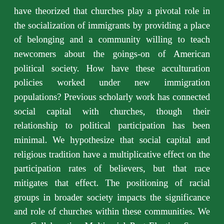have theorized that churches play a pivotal role in the socialization of immigrants by providing a place of belonging and a community willing to teach newcomers about the goings-on of American political society. How have these acculturation policies worked under new immigration populations? Previous scholarly work has connected social capital with churches, though their relationship to political participation has been minimal. We hypothesize that social capital and religious tradition have a multiplicative effect on the participation rates of believers, but that race mitigates that effect. The positioning of racial groups in broader society impacts the significance and role of churches within these communities. We use Collaborative Multiracial Post-Election Survey (CMPS) 2016 data to examine the connection between social capital, religion, and political behavior in a novel attempt to systematically identify the unique role of churches in the mobilization of racial minority communities. We use these results to suggest that the current policies of privatizing